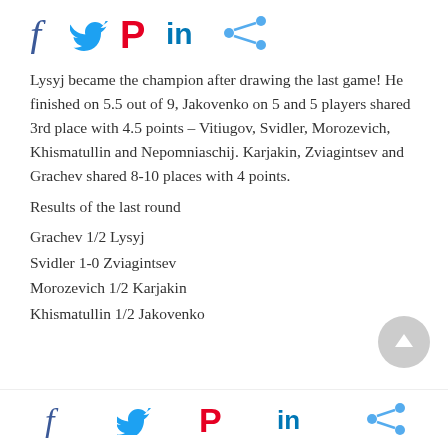[Figure (other): Social media share icons: Facebook (f), Twitter (bird), Pinterest (P), LinkedIn (in), Share icon]
Lysyj became the champion after drawing the last game! He finished on 5.5 out of 9, Jakovenko on 5 and 5 players shared 3rd place with 4.5 points – Vitiugov, Svidler, Morozevich, Khismatullin and Nepomniaschij. Karjakin, Zviagintsev and Grachev shared 8-10 places with 4 points.
Results of the last round
Grachev 1/2 Lysyj
Svidler 1-0 Zviagintsev
Morozevich 1/2 Karjakin
Khismatullin 1/2 Jakovenko
[Figure (other): Social media share icons at the bottom: Facebook (f), Twitter (bird), Pinterest (P), LinkedIn (in), Share icon]